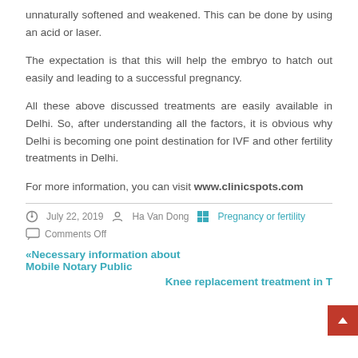unnaturally softened and weakened. This can be done by using an acid or laser.
The expectation is that this will help the embryo to hatch out easily and leading to a successful pregnancy.
All these above discussed treatments are easily available in Delhi. So, after understanding all the factors, it is obvious why Delhi is becoming one point destination for IVF and other fertility treatments in Delhi.
For more information, you can visit www.clinicspots.com
July 22, 2019  Ha Van Dong  Pregnancy or fertility  Comments Off
«Necessary information about Mobile Notary Public
Knee replacement treatment in T